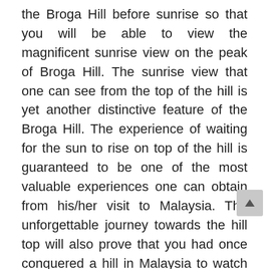the Broga Hill before sunrise so that you will be able to view the magnificent sunrise view on the peak of Broga Hill. The sunrise view that one can see from the top of the hill is yet another distinctive feature of the Broga Hill. The experience of waiting for the sun to rise on top of the hill is guaranteed to be one of the most valuable experiences one can obtain from his/her visit to Malaysia. The unforgettable journey towards the hill top will also prove that you had once conquered a hill in Malaysia to watch the sunrise on the peak of the hill.